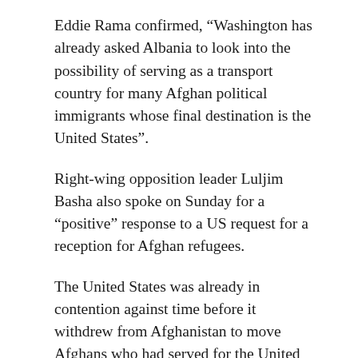Eddie Rama confirmed, “Washington has already asked Albania to look into the possibility of serving as a transport country for many Afghan political immigrants whose final destination is the United States”.
Right-wing opposition leader Luljim Basha also spoke on Sunday for a “positive” response to a US request for a reception for Afghan refugees.
The United States was already in contention against time before it withdrew from Afghanistan to move Afghans who had served for the United States military.
Canada has expressed its readiness to welcome more than 20,000 refugees due to the Taliban’s advance in major cities in Afghanistan.
At the request of the United States, in 2006, Albania